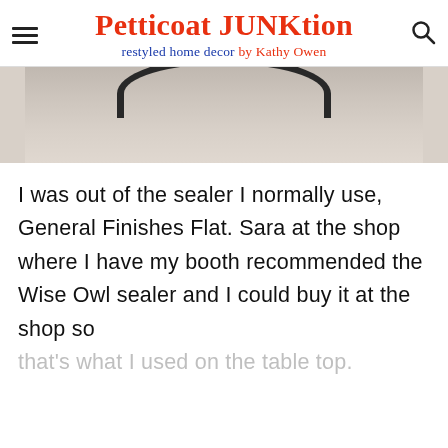Petticoat JUNKtion — restyled home decor by Kathy Owen
[Figure (photo): Partial top-down photo of a round dark-rimmed bowl or plate on a marble/light stone surface, cropped to show only the rim at the top of the image.]
I was out of the sealer I normally use, General Finishes Flat. Sara at the shop where I have my booth recommended the Wise Owl sealer and I could buy it at the shop so that's what I used on the table top.